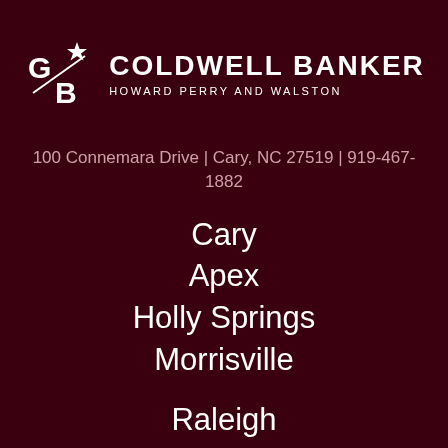[Figure (logo): Coldwell Banker Howard Perry and Walston logo with CB emblem and star]
100 Connemara Drive | Cary, NC 27519 | 919-467-1882
Cary
Apex
Holly Springs
Morrisville
Raleigh
Fuquay Varina
Pittsboro
Durham